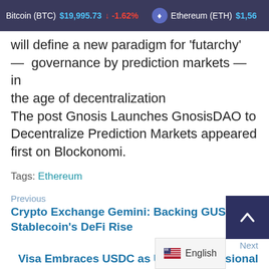Bitcoin (BTC) $19,995.73 ↓ -1.62% Ethereum (ETH) $1,56...
will define a new paradigm for 'futarchy' — governance by prediction markets — in the age of decentralization
The post Gnosis Launches GnosisDAO to Decentralize Prediction Markets appeared first on Blockonomi.
Tags: Ethereum
Previous
Crypto Exchange Gemini: Backing GUSD Stablecoin's DeFi Rise
Next
Visa Embraces USDC as U.S. Congressional Officials Take Aim at Stablecoins